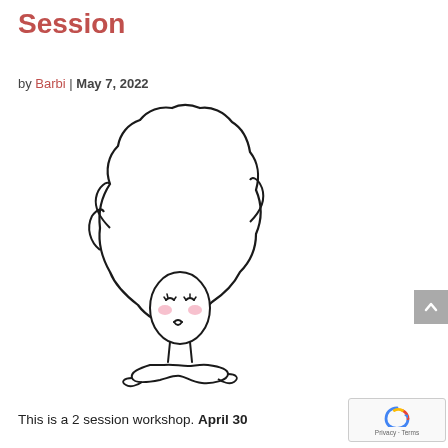Session
by Barbi | May 7, 2022
[Figure (illustration): A whimsical line drawing of a woman with a large, curly afro hairstyle. Her face shows closed eyes, pink rosy cheeks, and puckered lips. She has a slender neck and her body is suggested at the bottom with a decorative flourish.]
This is a 2 session workshop. April 30